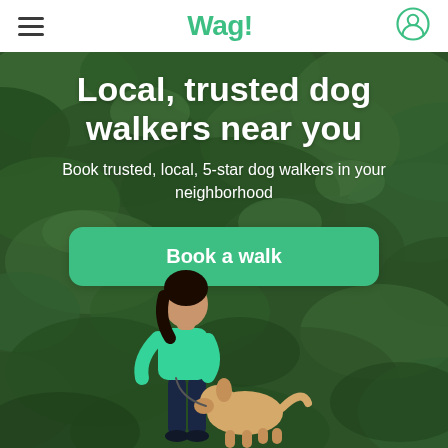Wag!
Local, trusted dog walkers near you
Book trusted, local, 5-star dog walkers in your neighborhood
Book a walk
[Figure (photo): Woman in green shirt walking a golden retriever dog against a dark green foliage background]